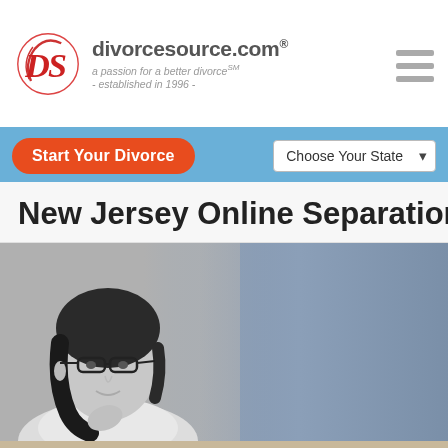divorcesource.com® — a passion for a better divorce℠ — established in 1996 —
New Jersey Online Separation Agreement
[Figure (screenshot): Navigation bar with 'Start Your Divorce' orange button and 'Choose Your State' dropdown on blue background]
[Figure (photo): Black and white photo of a woman with glasses looking toward camera, fading into a grey-blue gradient background]